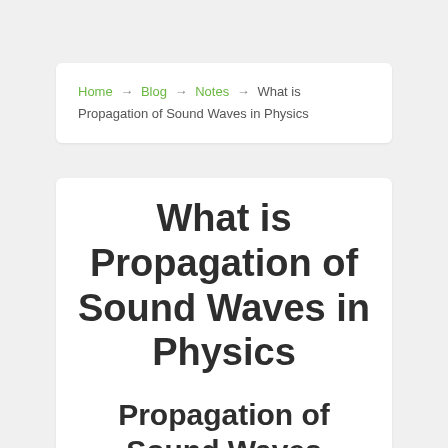Home → Blog → Notes → What is Propagation of Sound Waves in Physics
What is Propagation of Sound Waves in Physics
Propagation of Sound Waves